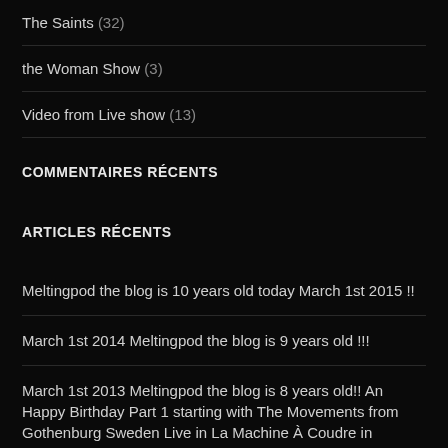The Saints (32)
the Woman Show (3)
Video from Live show (13)
COMMENTAIRES RÉCENTS
ARTICLES RÉCENTS
Meltingpod the blog is 10 years old today March 1st 2015 !!
March 1st 2014 Meltingpod the blog is 9 years old !!!
March 1st 2013 Meltingpod the blog is 8 years old!! An Happy Birthday Part 1 starting with The Movements from Gothenburg Sweden Live in La Machine À Coudre in Marseille
Meltingpod 112 with Mick Harvey (ex-Birthday Party ex-Bad Seeds PJ Harvey's band) : Live interview or Conversation under the Stars at